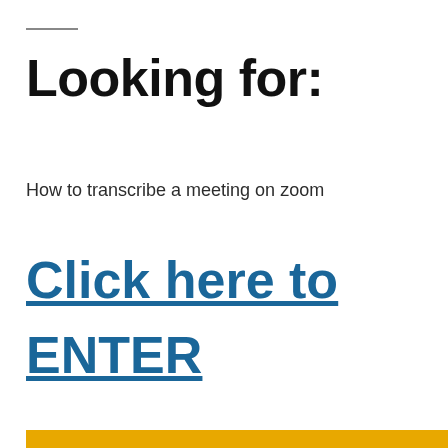Looking for:
How to transcribe a meeting on zoom
Click here to ENTER